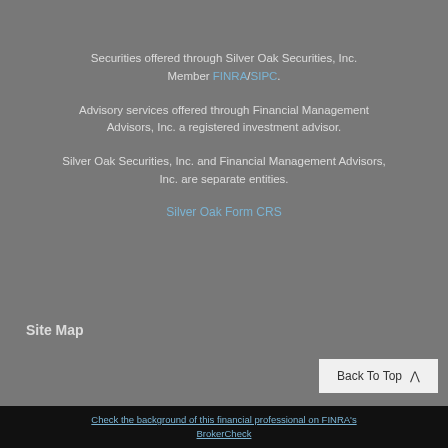Securities offered through Silver Oak Securities, Inc. Member FINRA/SIPC.
Advisory services offered through Financial Management Advisors, Inc. a registered investment advisor.
Silver Oak Securities, Inc. and Financial Management Advisors, Inc. are separate entities.
Silver Oak Form CRS
Site Map
Back To Top
Check the background of this financial professional on FINRA's BrokerCheck